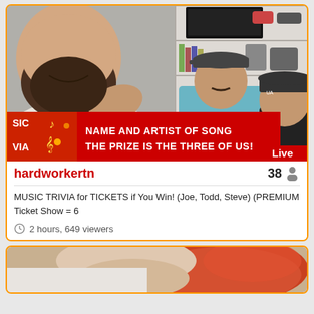[Figure (screenshot): Live stream screenshot showing three men in a room. The man in the foreground wears a white Chaturbate t-shirt and has a beard. Two men sit in the background, one in a teal tank top with a cap, another in a black tank top with a cap. A red banner overlays the bottom of the video reading 'NAME AND ARTIST OF SONG / THE PRIZE IS THE THREE OF US!' with 'Live' in the bottom right corner. The left side of the banner shows a music trivia graphic with 'SIC', 'VIA' text and music notes.]
hardworkertn
38
MUSIC TRIVIA for TICKETS if You Win! (Joe, Todd, Steve) (PREMIUM Ticket Show = 6
2 hours, 649 viewers
[Figure (screenshot): Partial screenshot of a second live stream showing a red-haired person lying down.]